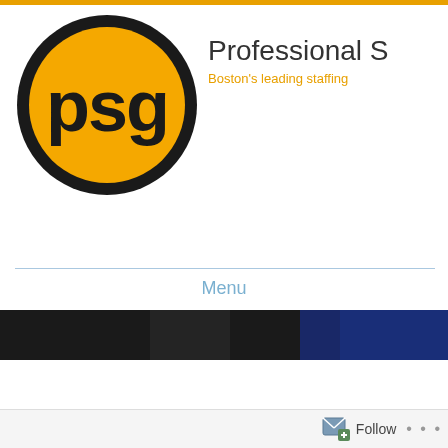[Figure (logo): PSG logo: black circle with yellow fill and 'psg' text in dark bold lowercase letters]
Professional S
Boston's leading staffing
Menu
[Figure (photo): Dark banner photo with blue accent on right side]
TAG ARCHIVES: JOB INTERVIEW PROTOCOL
Ask A Recruiter: Protocol for Thank You Notes
Posted on January 16, 2013 by psgstaffing · Posted in Ask a Recruiter,